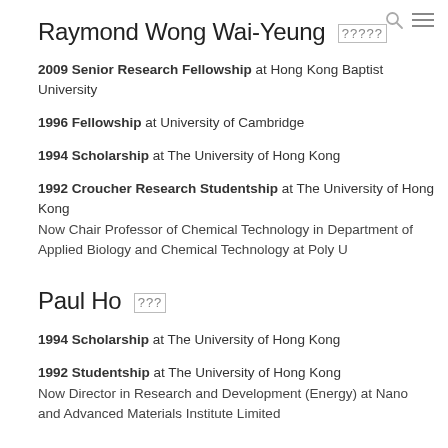Raymond Wong Wai-Yeung
2009 Senior Research Fellowship at Hong Kong Baptist University
1996 Fellowship at University of Cambridge
1994 Scholarship at The University of Hong Kong
1992 Croucher Research Studentship at The University of Hong Kong
Now Chair Professor of Chemical Technology in Department of Applied Biology and Chemical Technology at Poly U
Paul Ho
1994 Scholarship at The University of Hong Kong
1992 Studentship at The University of Hong Kong
Now Director in Research and Development (Energy) at Nano and Advanced Materials Institute Limited